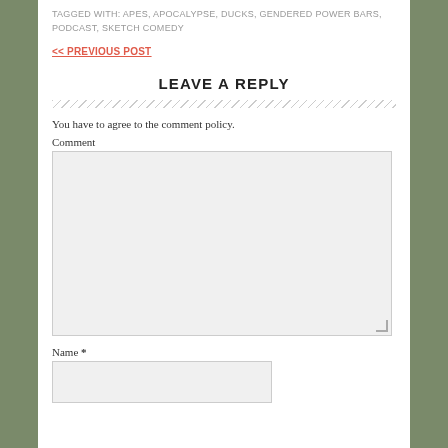TAGGED WITH: APES, APOCALYPSE, DUCKS, GENDERED POWER BARS, PODCAST, SKETCH COMEDY
<< PREVIOUS POST
LEAVE A REPLY
You have to agree to the comment policy.
Comment
Name *